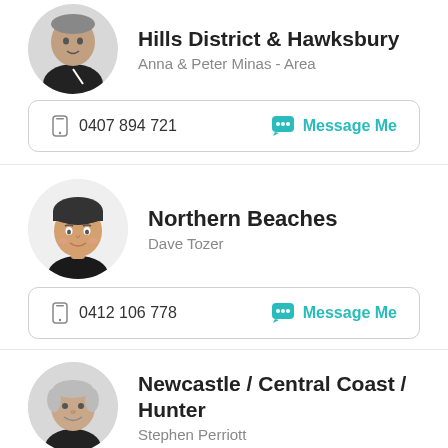[Figure (photo): Partial circular avatar photo of a person at the top, cropped off at top edge]
Hills District & Hawksbury
Anna & Peter Minas - Area
0407 894 721
Message Me
[Figure (illustration): Circular avatar illustration of Dave Tozer - animated style character]
Northern Beaches
Dave Tozer
0412 106 778
Message Me
[Figure (photo): Partial circular avatar photo of Stephen Perriott at bottom, partially cut off]
Newcastle / Central Coast / Hunter
Stephen Perriott